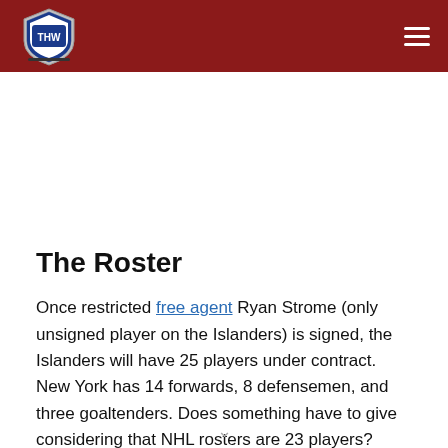THW — The Hockey Writers (logo and navigation header)
The Roster
Once restricted free agent Ryan Strome (only unsigned player on the Islanders) is signed, the Islanders will have 25 players under contract. New York has 14 forwards, 8 defensemen, and three goaltenders. Does something have to give considering that NHL rosters are 23 players? Throw in the fact a number of